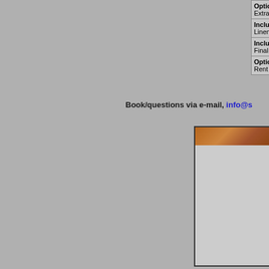| Description | Price |
| --- | --- |
| Optional:
Extra bed | 250 |
| Included:
Linen and sheets |  |
| Included:
Final cleaning |  |
| Optional:
Rent your "own" horse during your stay |  |
Book/questions via e-mail, info@...
[Figure (photo): Partial photo showing a wooden surface at the top and a light grey area below, within a black-bordered frame. The image is cropped at the right edge of the visible page.]